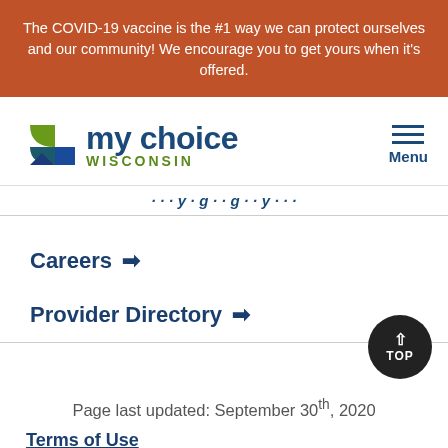The COVID-19 vaccine is the #1 way we can protect ourselves and our community! We encourage you to get yours when it's offered.
[Figure (logo): My Choice Wisconsin logo with geometric leaf/arrow icon and text 'my choice WISCONSIN']
Menu
(partial navigation link text)
Careers →
Provider Directory →
Page last updated: September 30th, 2020
Terms of Use